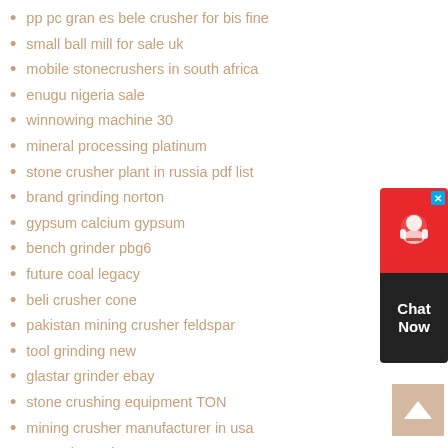pp pc gran es bele crusher for bis fine
small ball mill for sale uk
mobile stonecrushers in south africa
enugu nigeria sale
winnowing machine 30
mineral processing platinum
stone crusher plant in russia pdf list
brand grinding norton
gypsum calcium gypsum
bench grinder pbg6
future coal legacy
beli crusher cone
pakistan mining crusher feldspar
tool grinding new
glastar grinder ebay
stone crushing equipment TON
mining crusher manufacturer in usa
parts air purchase
power plants usually
coal crusher manufacturerin europe
silica crushing machinery
[Figure (other): Chat Now widget with headset icon, red top section with close X button, dark bottom section with Chat Now text]
[Figure (other): Back to top button - tan/beige square with upward arrow]